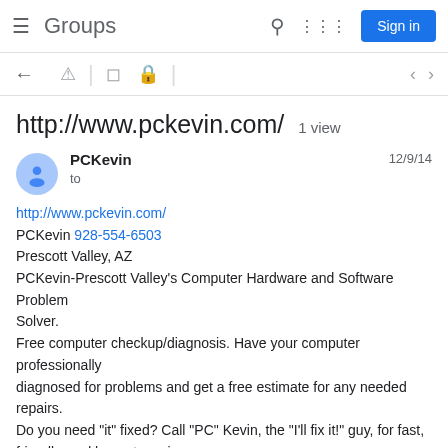Groups  Sign in
http://www.pckevin.com/  1 view
PCKevin  to  12/9/14
http://www.pckevin.com/
PCKevin 928-554-6503
Prescott Valley, AZ
PCKevin-Prescott Valley's Computer Hardware and Software Problem Solver.
Free computer checkup/diagnosis. Have your computer professionally diagnosed for problems and get a free estimate for any needed repairs.
Do you need "it" fixed? Call "PC" Kevin, the "I'll fix it!" guy, for fast, friendly, and honest service.
Trust "PC" Kevin to fix your computer when the other guys give up!
Be sure to bookmark this site (add it to your Favorites).